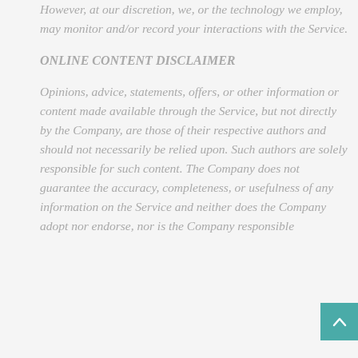However, at our discretion, we, or the technology we employ, may monitor and/or record your interactions with the Service.
ONLINE CONTENT DISCLAIMER
Opinions, advice, statements, offers, or other information or content made available through the Service, but not directly by the Company, are those of their respective authors and should not necessarily be relied upon. Such authors are solely responsible for such content. The Company does not guarantee the accuracy, completeness, or usefulness of any information on the Service and neither does the Company adopt nor endorse, nor is the Company responsible